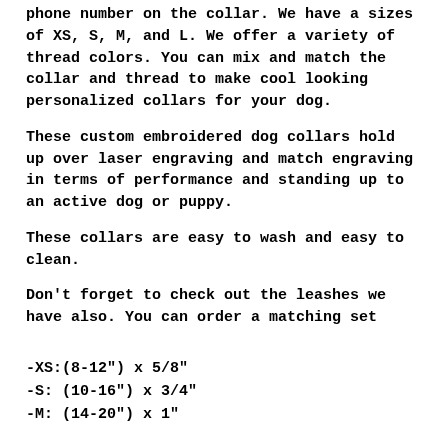phone number on the collar. We have a sizes of XS, S, M, and L. We offer a variety of thread colors. You can mix and match the collar and thread to make cool looking personalized collars for your dog.
These custom embroidered dog collars hold up over laser engraving and match engraving in terms of performance and standing up to an active dog or puppy.
These collars are easy to wash and easy to clean.
Don't forget to check out the leashes we have also. You can order a matching set
-XS:(8-12") x 5/8"
-S: (10-16") x 3/4"
-M: (14-20") x 1"